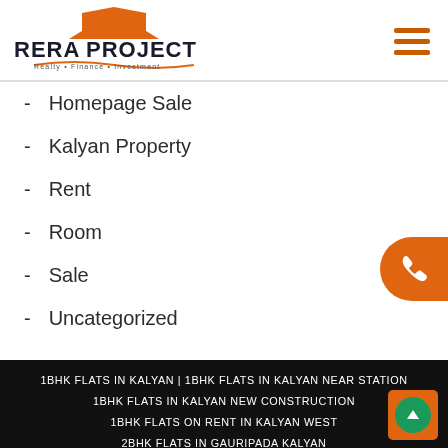[Figure (logo): RERA PROJECT logo with house icon and tagline: Realty • Finance • Investment]
- Homepage Sale
- Kalyan Property
- Rent
- Room
- Sale
- Uncategorized
1BHK FLATS IN KALYAN | 1BHK FLATS IN KALYAN NEAR STATION
1BHK FLATS IN KALYAN NEW CONSTRUCTION
1BHK FLATS ON RENT IN KALYAN WEST
2BHK FLATS IN GAURIPADA KALYAN